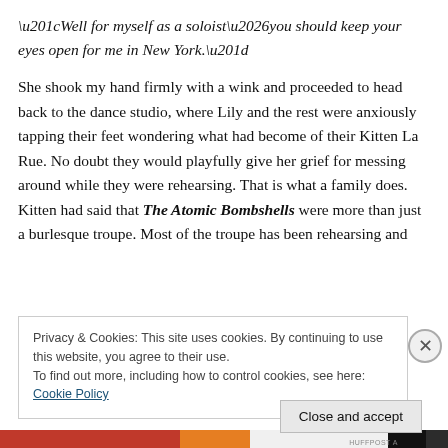“Well for myself as a soloist…you should keep your eyes open for me in New York.”
She shook my hand firmly with a wink and proceeded to head back to the dance studio, where Lily and the rest were anxiously tapping their feet wondering what had become of their Kitten La Rue. No doubt they would playfully give her grief for messing around while they were rehearsing. That is what a family does. Kitten had said that The Atomic Bombshells were more than just a burlesque troupe. Most of the troupe has been rehearsing and
Privacy & Cookies: This site uses cookies. By continuing to use this website, you agree to their use.
To find out more, including how to control cookies, see here: Cookie Policy
Close and accept